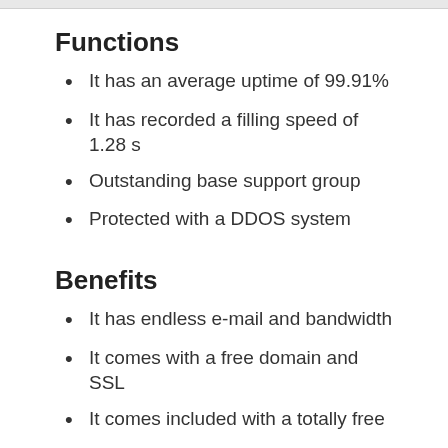Functions
It has an average uptime of 99.91%
It has recorded a filling speed of 1.28 s
Outstanding base support group
Protected with a DDOS system
Benefits
It has endless e-mail and bandwidth
It comes with a free domain and SSL
It comes included with a totally free